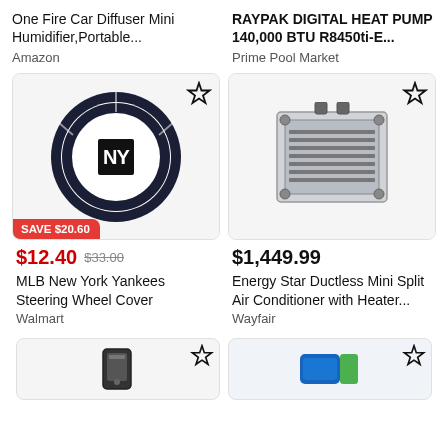One Fire Car Diffuser Mini Humidifier,Portable...
Amazon
RAYPAK DIGITAL HEAT PUMP 140,000 BTU R8450ti-E...
Prime Pool Market
[Figure (photo): MLB New York Yankees Steering Wheel Cover product image with dark navy blue steering wheel cover and NY Yankees logo. Has a red SAVE $20.60 badge at bottom left.]
$12.40  $33.00
MLB New York Yankees Steering Wheel Cover
Walmart
[Figure (photo): Energy Star Ductless Mini Split Air Conditioner with Heater product image showing a ceiling cassette unit.]
$1,449.99
Energy Star Ductless Mini Split Air Conditioner with Heater...
Wayfair
[Figure (photo): Partial product image at bottom left, appears to be a small electronic device.]
[Figure (photo): Partial product image at bottom right, appears to be a blue colored product.]